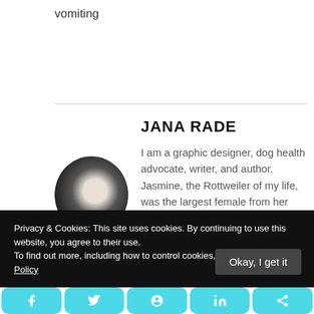vomiting
[Figure (photo): Circular profile photo of Jana Rade, showing a dark-haired person]
JANA RADE
I am a graphic designer, dog health advocate, writer, and author. Jasmine, the Rottweiler of my life, was the largest female from her litter. We thought we
Privacy & Cookies: This site uses cookies. By continuing to use this website, you agree to their use.
To find out more, including how to control cookies, see here: Cookie Policy
Okay, I get it